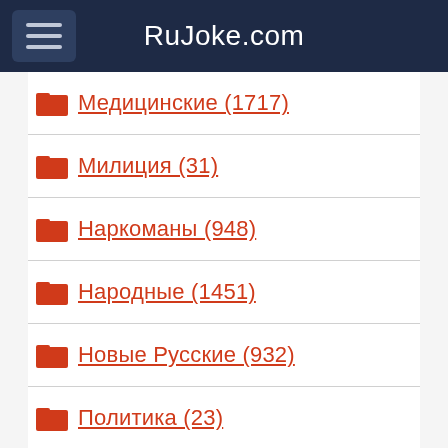RuJoke.com
Медицинские (1717)
Милиция (31)
Наркоманы (948)
Народные (1451)
Новые Русские (932)
Политика (23)
Поручик Ржевский (229)
Про Билла Гейтса (18)